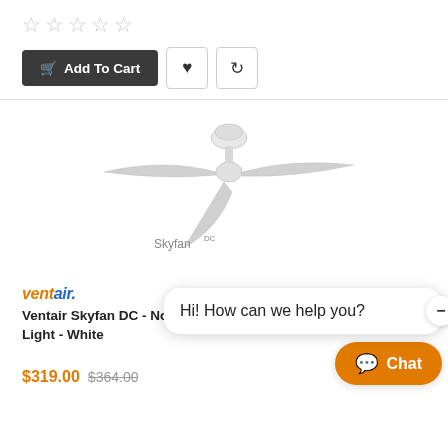[Figure (other): Five empty star rating icons in a row]
Add To Cart (button with heart and refresh icons)
[Figure (photo): White ceiling fan (Skyfan brand) with three blades, product photo on white background with Skyfan logo watermark]
ventair.
Ventair Skyfan DC - No Light - White
$319.00 $364.00
Hi! How can we help you?